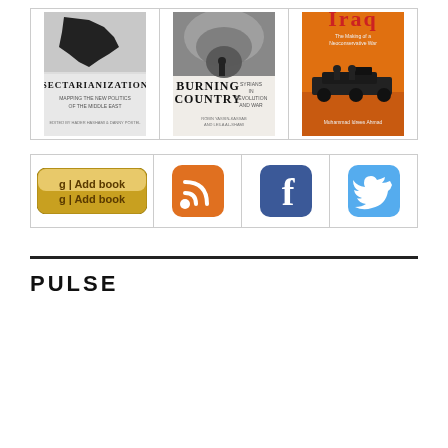[Figure (illustration): Three book covers in a row: 'Sectarianization: Mapping the New Politics of the Middle East', 'Burning Country: Syrians in Revolution and War', and 'Iraq: The Making of a Neoconservative War' by Muhammad Idrees Ahmad]
[Figure (infographic): Four social/action icons in a row: Goodreads 'Add book' button, RSS feed icon (orange), Facebook icon (blue), Twitter icon (light blue)]
PULSE